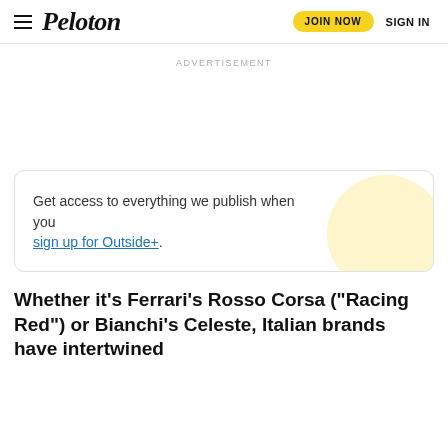Peloton | JOIN NOW | SIGN IN
ADVERTISEMENT
Get access to everything we publish when you sign up for Outside+.
Whether it’s Ferrari’s Rosso Corsa (“Racing Red”) or Bianchi’s Celeste, Italian brands have intertwined